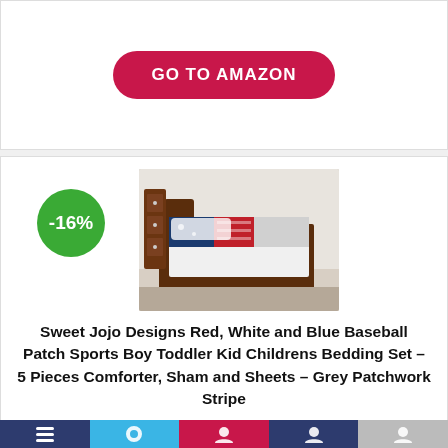[Figure (other): GO TO AMAZON button — crimson pill-shaped button with white bold uppercase text]
[Figure (photo): Product image of a baseball-themed toddler bedding set with red, white, blue, and grey patchwork stripe pattern on a bed with dark wood frame]
-16%
Sweet Jojo Designs Red, White and Blue Baseball Patch Sports Boy Toddler Kid Childrens Bedding Set – 5 Pieces Comforter, Sham and Sheets – Grey Patchwork Stripe
[Figure (other): 5 gold/orange star rating icons]
$99.99 $115.99